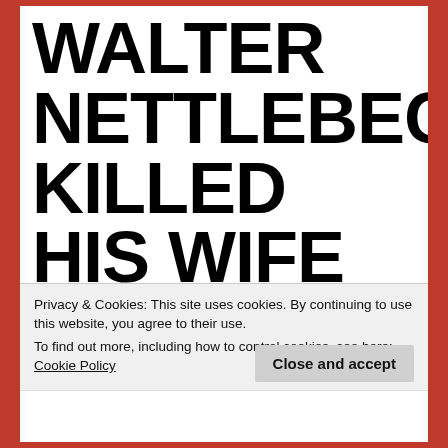WALTER NETTLEBECK KILLED HIS WIFE AND STEP-DAUGHTER WITH AN AX
Privacy & Cookies: This site uses cookies. By continuing to use this website, you agree to their use.
To find out more, including how to control cookies, see here: Cookie Policy
Close and accept